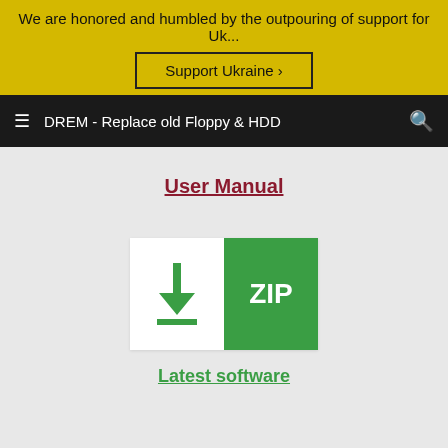We are honored and humbled by the outpouring of support for Uk...
Support Ukraine ›
≡  DREM - Replace old Floppy & HDD  🔍
User Manual
[Figure (illustration): A download icon (arrow pointing down with a line) on white background next to a green square with 'ZIP' text in white.]
Latest software